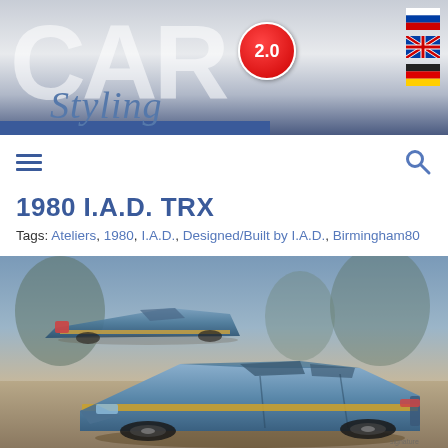[Figure (illustration): Car Styling 2.0 website header banner with large semi-transparent CAR text, Styling italic script, red circular 2.0 badge, and blue accent bar. Russian, UK, and German flag icons top-right.]
1980 I.A.D. TRX
Tags: Ateliers, 1980, I.A.D., Designed/Built by I.A.D., Birmingham80
[Figure (illustration): Artistic rendering/illustration of the 1980 I.A.D. TRX concept car — two views of a futuristic blue wedge-shaped hatchback with gold side stripe, shown in a moody outdoor setting.]